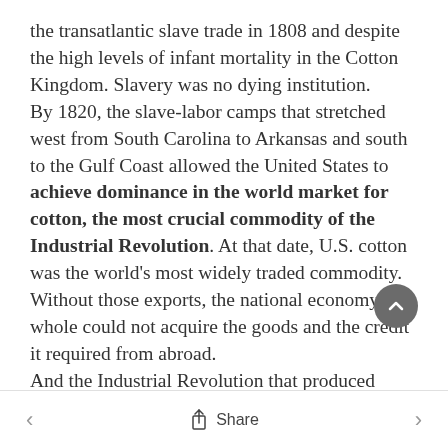the transatlantic slave trade in 1808 and despite the high levels of infant mortality in the Cotton Kingdom. Slavery was no dying institution. By 1820, the slave-labor camps that stretched west from South Carolina to Arkansas and south to the Gulf Coast allowed the United States to achieve dominance in the world market for cotton, the most crucial commodity of the Industrial Revolution. At that date, U.S. cotton was the world's most widely traded commodity. Without those exports, the national economy as a whole could not acquire the goods and the credit it required from abroad. And the Industrial Revolution that produced those